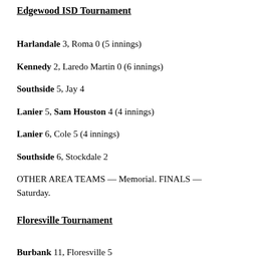Edgewood ISD Tournament
Harlandale 3, Roma 0 (5 innings)
Kennedy 2, Laredo Martin 0 (6 innings)
Southside 5, Jay 4
Lanier 5, Sam Houston 4 (4 innings)
Lanier 6, Cole 5 (4 innings)
Southside 6, Stockdale 2
OTHER AREA TEAMS — Memorial. FINALS — Saturday.
Floresville Tournament
Burbank 11, Floresville 5
Burbank 9, Poteet 1
Raising Canes San Antonio/Comal Tournament
At Alamo Heights, Boerne, Boerne Champion & Smithson Valley
Churchill 5, East Central 0